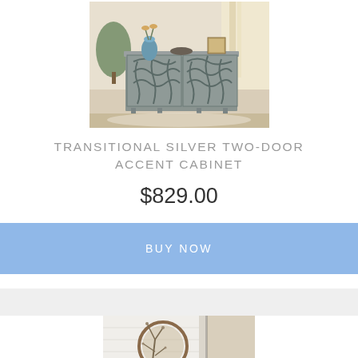[Figure (photo): Photo of a transitional silver two-door accent cabinet with decorative fretwork pattern on doors, displayed in a room setting with a blue vase and decor on top]
TRANSITIONAL SILVER TWO-DOOR ACCENT CABINET
$829.00
BUY NOW
[Figure (photo): Partial photo of another product showing decorative branches and a round mirror against a white brick wall]